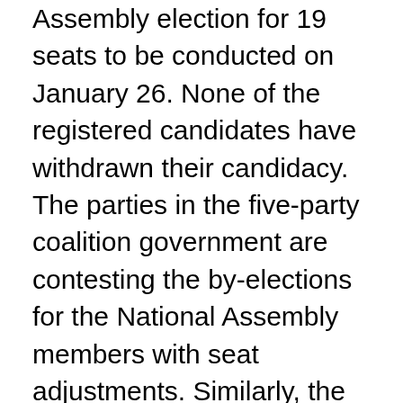Assembly election for 19 seats to be conducted on January 26. None of the registered candidates have withdrawn their candidacy. The parties in the five-party coalition government are contesting the by-elections for the National Assembly members with seat adjustments. Similarly, the main opposition party CPN-UML has also fielded its own candidate. Candidates of Nepali Congress, CPN (Maoist Center), Janata Samajbadi Party, CPN (Unified Socialists) and Rastriya Janamorcha are contesting the election. Elections are being conducted for a total of 19 posts representing the provinces.